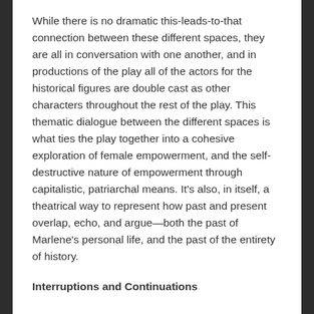While there is no dramatic this-leads-to-that connection between these different spaces, they are all in conversation with one another, and in productions of the play all of the actors for the historical figures are double cast as other characters throughout the rest of the play. This thematic dialogue between the different spaces is what ties the play together into a cohesive exploration of female empowerment, and the self-destructive nature of empowerment through capitalistic, patriarchal means. It's also, in itself, a theatrical way to represent how past and present overlap, echo, and argue—both the past of Marlene's personal life, and the past of the entirety of history.
Interruptions and Continuations